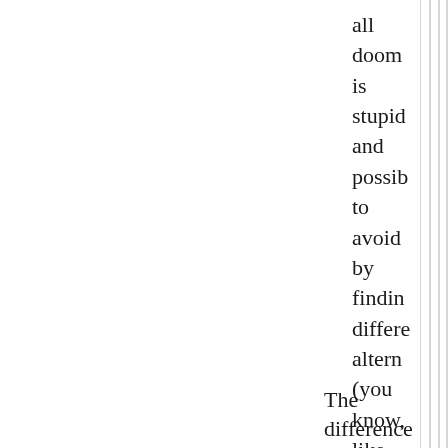all doom is stupid and possible to avoid by finding different alternatives (you know, like dressing warm in the winter - check
[Figure (other): Multiple vertical parallel lines running from top to bottom of the page, positioned in the left-center area]
The difference